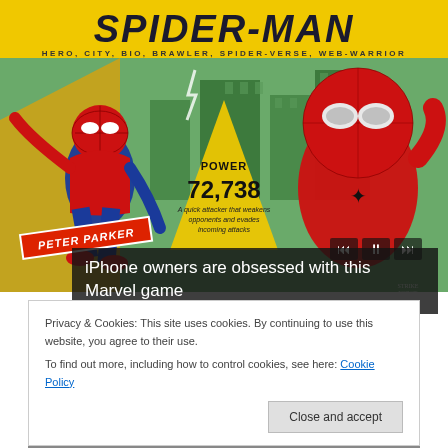[Figure (screenshot): Screenshot of Spider-Man mobile game (Marvel Strike Force). Shows 'SPIDER-MAN' title in large bold letters on yellow background, subtitle 'HERO, CITY, BIO, BRAWLER, SPIDER-VERSE, WEB-WARRIOR'. Game scene with animated Spider-Man on left (Peter Parker) and movie Spider-Man on right. Yellow triangle in center shows POWER 72,738 and description text. Media playback controls visible.]
iPhone owners are obsessed with this Marvel game
Privacy & Cookies: This site uses cookies. By continuing to use this website, you agree to their use.
To find out more, including how to control cookies, see here: Cookie Policy
Close and accept
[Figure (photo): Bottom portion of a black and white photograph, partially visible]